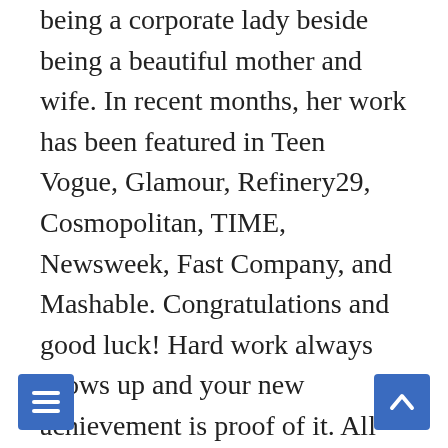being a corporate lady beside being a beautiful mother and wife. In recent months, her work has been featured in Teen Vogue, Glamour, Refinery29, Cosmopolitan, TIME, Newsweek, Fast Company, and Mashable. Congratulations and good luck! Hard work always shows up and your new achievement is proof of it. All the best for your new job! Best wishes for your new job, friend! You did a great job over here and I believe you will also do great things on your new job. Well done and always make me proud like this. You wanted it; you've got it. The first day at your new job may be among the most memorable — and perhaps stressful — of your career. Baby, congratulations on your new job! How to maximise the first 30 days in a new job. Now, you have yours too. Congratulations, my love. What a beautiful day to begin a fabulous new